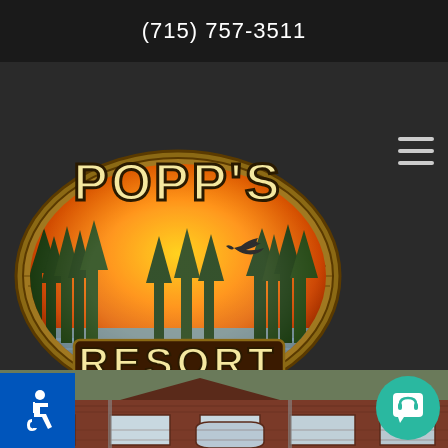(715) 757-3511
[Figure (logo): Popp's Resort logo — oval badge with forest/lake/sunset scene, eagle in flight, text 'POPP'S RESORT' and tagline 'ON THE WILD SHORES OF HIGH FALLS FLOWAGE']
[Figure (photo): Exterior photo of a red/brown wood-sided cabin or lodge building surrounded by trees, viewed from the front showing large windows.]